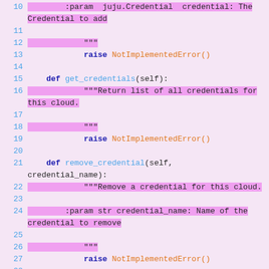[Figure (screenshot): Code snippet showing Python class methods: add_credential, get_credentials, remove_credential, and bootstrap. Lines 10-30 of source code with syntax highlighting. Line numbers in blue, keywords in dark blue bold, function names in light blue, strings/docstrings highlighted in pink, NotImplementedError in orange.]